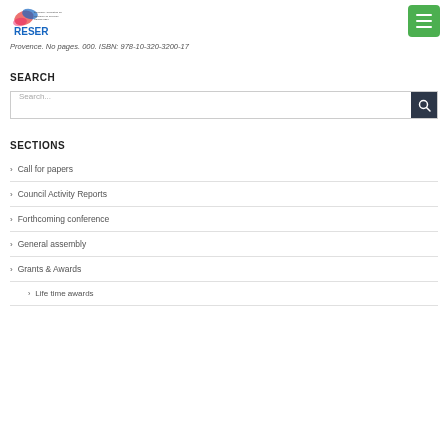RESER
Provence. No pages. 000. ISBN: 978-10-320-3200-17
SEARCH
Search...
SECTIONS
Call for papers
Council Activity Reports
Forthcoming conference
General assembly
Grants & Awards
Life time awards